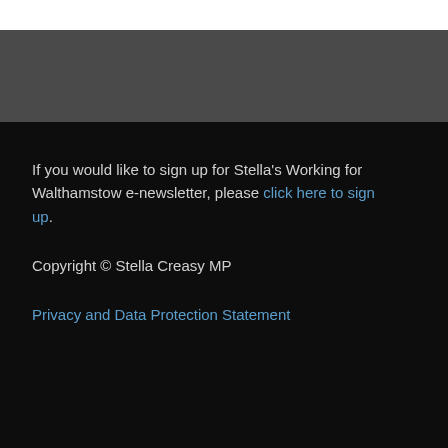If you would like to sign up for Stella's Working for Walthamstow e-newsletter, please click here to sign up.
Copyright © Stella Creasy MP
Privacy and Data Protection Statement